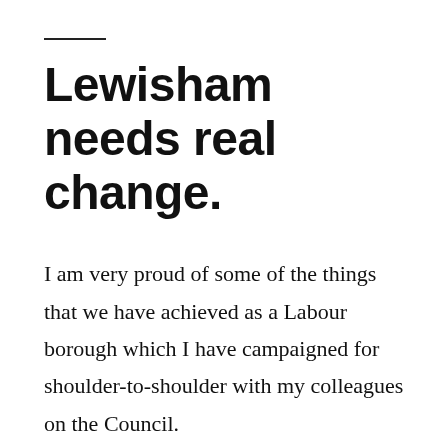Lewisham needs real change.
I am very proud of some of the things that we have achieved as a Labour borough which I have campaigned for shoulder-to-shoulder with my colleagues on the Council.
However, by the next election Lewisham will have had the same Mayor for 16 years and